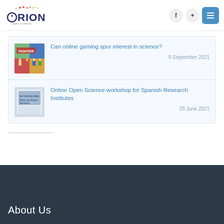ORION open science — header with logo, Facebook, Twitter, and menu buttons
[Figure (screenshot): Gaming article thumbnail: colorful pixel art showing characters with 'FIGHTER' text]
Can online gaming spur interest in science?
9 September 2021
[Figure (screenshot): Open Science workshop thumbnail: book cover 'de Ciencia Abie... Retos de Investi Sanitaria']
Online Open Science workshop for Spanish Research Institutes
29 June 2021
About Us